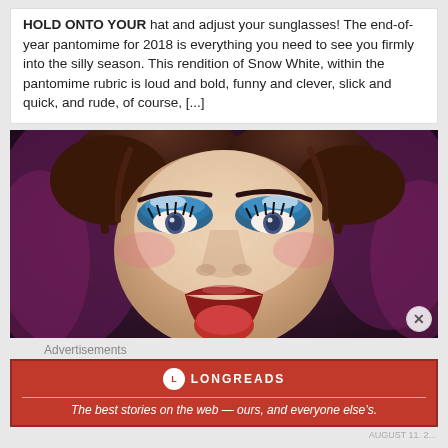HOLD ONTO YOUR hat and adjust your sunglasses! The end-of-year pantomime for 2018 is everything you need to see you firmly into the silly season. This rendition of Snow White, within the pantomime rubric is loud and bold, funny and clever, slick and quick, and rude, of course, [...]
[Figure (photo): Close-up portrait photo of a performer in dramatic stage makeup — heavy blue eyeshadow, pale foundation, false lashes, red lips parted showing tongue, dark hair with purple background. Theatrical pantomime villain or dame character.]
Advertisements
[Figure (logo): Longreads advertisement banner: red background with white rectangular border, Longreads logo (L in circle) and brand name, tagline: The best stories on the web — ours, and everyone else's.]
AUGUST 11. 2...